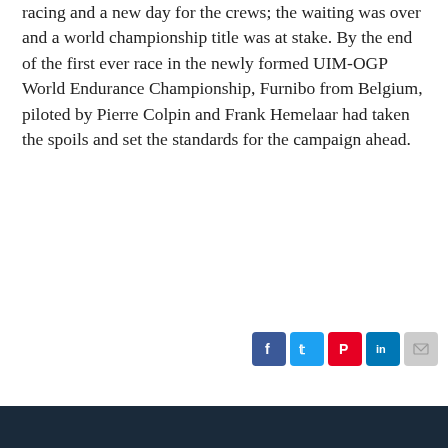racing and a new day for the crews; the waiting was over and a world championship title was at stake. By the end of the first ever race in the newly formed UIM-OGP World Endurance Championship, Furnibo from Belgium, piloted by Pierre Colpin and Frank Hemelaar had taken the spoils and set the standards for the campaign ahead.
[Figure (infographic): Social share icons row: Facebook (blue), Twitter (blue), Pinterest (red), LinkedIn (blue), Email (grey)]
READ MORE
2011 OGP Powerboat WC, 2B1 Furnibo, Evolution Class, Karelpiu, Supersport Class, Teams
Leave a comment
Privacy & Cookies: This site uses cookies. By continuing to use this website, you agree to their use.
To find out more, including how to control cookies, see here: Cookie Policy
Close and accept